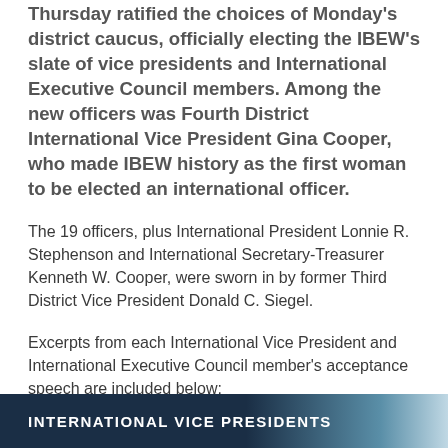Thursday ratified the choices of Monday's district caucus, officially electing the IBEW's slate of vice presidents and International Executive Council members. Among the new officers was Fourth District International Vice President Gina Cooper, who made IBEW history as the first woman to be elected an international officer.
The 19 officers, plus International President Lonnie R. Stephenson and International Secretary-Treasurer Kenneth W. Cooper, were sworn in by former Third District Vice President Donald C. Siegel.
Excerpts from each International Vice President and International Executive Council member's acceptance speech are included below:
INTERNATIONAL VICE PRESIDENTS